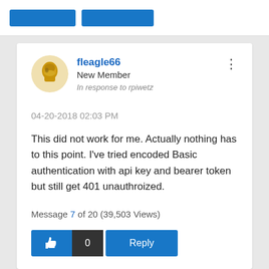[Figure (screenshot): Top navigation bar with two blue buttons partially visible]
fleagle66
New Member
In response to rpiwetz
04-20-2018 02:03 PM
This did not work for me. Actually nothing has to this point. I've tried encoded Basic authentication with api key and bearer token but still get 401 unauthroized.
Message 7 of 20 (39,503 Views)
[Figure (screenshot): Action row with thumbs up like button, 0 count, and Reply button]